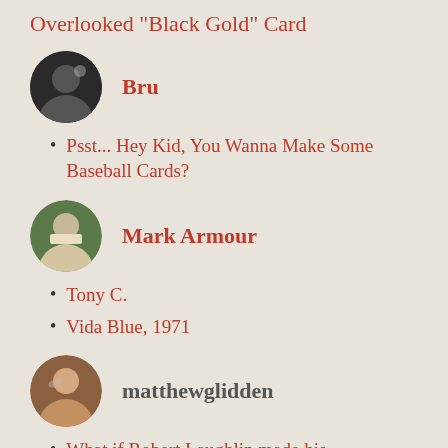Overlooked "Black Gold" Card
Bru
Psst... Hey Kid, You Wanna Make Some Baseball Cards?
Mark Armour
Tony C.
Vida Blue, 1971
matthewglidden
What if Robert Laughlin made his 300/400/500 set today?